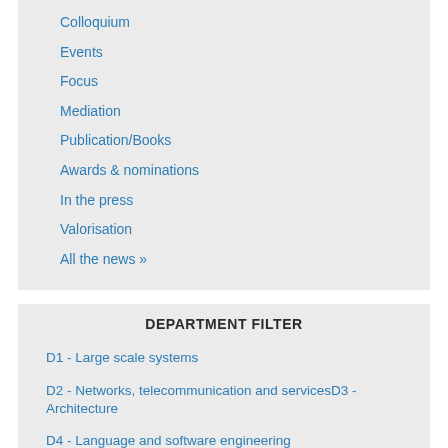Colloquium
Events
Focus
Mediation
Publication/Books
Awards & nominations
In the press
Valorisation
All the news »
DEPARTMENT FILTER
D1 - Large scale systems
D2 - Networks, telecommunication and servicesD3 - Architecture
D4 - Language and software engineering
D5 - Virtual reality, virtual Humans, Interactions and Robotics